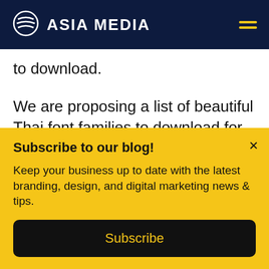ASIA MEDIA
to download.
We are proposing a list of beautiful Thai font families to download for free that can be interesting for your brand:
Download free Sarabun font:
Subscribe to our blog!
Keep your business up to date with the latest branding, design, and digital marketing news & tips.
Subscribe